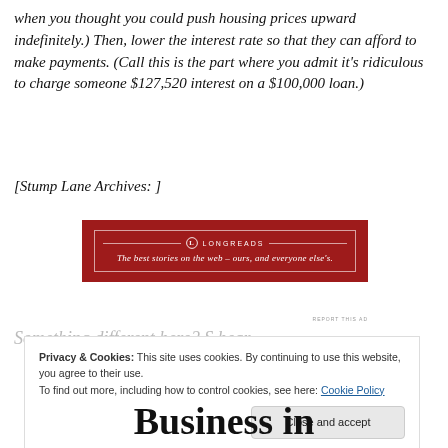when you thought you could push housing prices upward indefinitely.) Then, lower the interest rate so that they can afford to make payments. (Call this is the part where you admit it's ridiculous to charge someone $127,520 interest on a $100,000 loan.)
[Stump Lane Archives: ]
[Figure (other): Longreads advertisement banner: red background with white border, Longreads logo and text 'The best stories on the web – ours, and everyone else's.']
REPORT THIS AD
Privacy & Cookies: This site uses cookies. By continuing to use this website, you agree to their use.
To find out more, including how to control cookies, see here: Cookie Policy
Close and accept
Business in